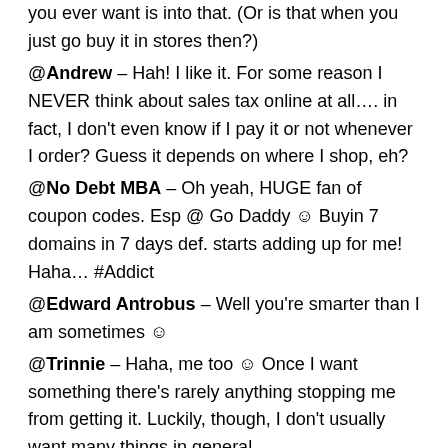you ever want is into that. (Or is that when you just go buy it in stores then?)
@Andrew – Hah! I like it. For some reason I NEVER think about sales tax online at all…. in fact, I don't even know if I pay it or not whenever I order? Guess it depends on where I shop, eh?
@No Debt MBA – Oh yeah, HUGE fan of coupon codes. Esp @ Go Daddy ☺ Buyin 7 domains in 7 days def. starts adding up for me! Haha… #Addict
@Edward Antrobus – Well you're smarter than I am sometimes ☺
@Trinnie – Haha, me too 🙂 Once I want something there's rarely anything stopping me from getting it. Luckily, though, I don't usually want many things in general.